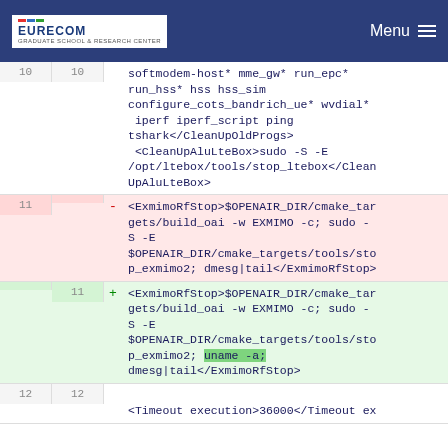EURECOM | Menu
softmodem-host* mme_gw* run_epc* run_hss* hss hss_sim configure_cots_bandrich_ue* wvdial* iperf iperf_script ping tshark</CleanUpOldProgs> <CleanUpAluLteBox>sudo -S -E /opt/ltebox/tools/stop_ltebox</CleanUpAluLteBox>
- <ExmimoRfStop>$OPENAIR_DIR/cmake_targets/build_oai -w EXMIMO -c; sudo -S -E $OPENAIR_DIR/cmake_targets/tools/stop_exmimo2; dmesg|tail</ExmimoRfStop>
+ <ExmimoRfStop>$OPENAIR_DIR/cmake_targets/build_oai -w EXMIMO -c; sudo -S -E $OPENAIR_DIR/cmake_targets/tools/stop_exmimo2; uname -a; dmesg|tail</ExmimoRfStop>
<Timeout execution>36000</Timeout ex